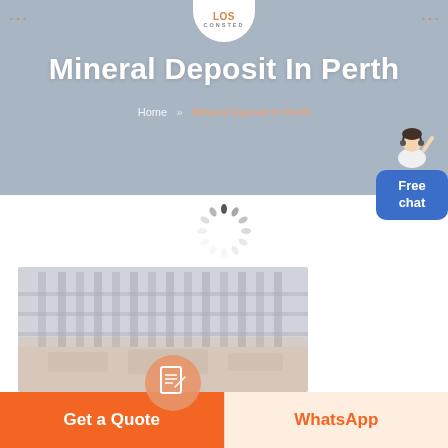CONSTED
Mineral Deposit In Perth
Home » Mineral Deposit In Perth
[Figure (illustration): Loading spinner (circular dashes animation indicator)]
[Figure (photo): Industrial facility interior showing vertical columns/racks, warehouse/factory equipment in muted orange-grey tones]
[Figure (illustration): Orange circular icon with document/file graphic overlay on photo]
[Figure (illustration): Free chat button with avatar figure (person in white with headset) on right side]
Get a Quote
WhatsApp